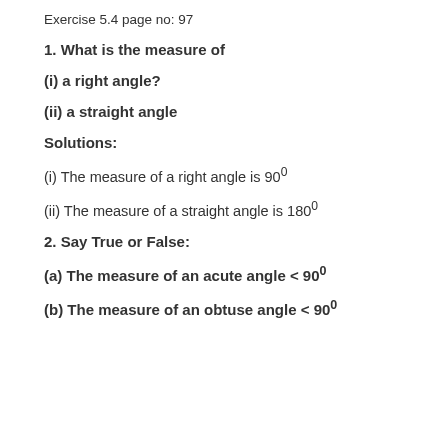Exercise 5.4 page no: 97
1. What is the measure of
(i) a right angle?
(ii) a straight angle
Solutions:
(i) The measure of a right angle is 90°
(ii) The measure of a straight angle is 180°
2. Say True or False:
(a) The measure of an acute angle < 90°
(b) The measure of an obtuse angle < 90°